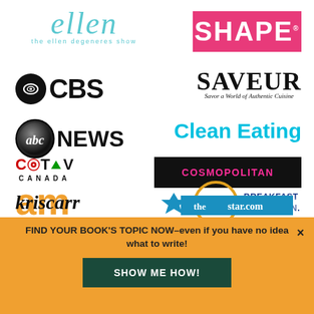[Figure (logo): Media and publication logos: Ellen DeGeneres Show, SHAPE, CBS, Saveur, abc NEWS, Clean Eating, Cosmopolitan, CTV Canada AM, Breakfast Television, Kris Carr, thestar.com]
FIND YOUR BOOK'S TOPIC NOW–even if you have no idea what to write!
SHOW ME HOW!